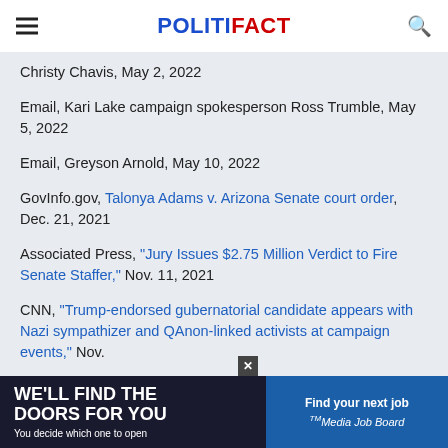POLITIFACT
Christy Chavis, May 2, 2022
Email, Kari Lake campaign spokesperson Ross Trumble, May 5, 2022
Email, Greyson Arnold, May 10, 2022
GovInfo.gov, Talonya Adams v. Arizona Senate court order, Dec. 21, 2021
Associated Press, "Jury Issues $2.75 Million Verdict to Fire Senate Staffer," Nov. 11, 2021
CNN, "Trump-endorsed gubernatorial candidate appears with Nazi sympathizer and QAnon-linked activists at campaign events," Nov.
Twi...